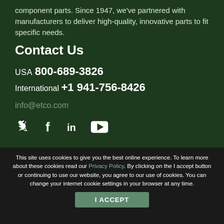component parts. Since 1947, we've partnered with manufacturers to deliver high-quality, innovative parts to fit specific needs.
Contact Us
USA 800-689-3826
International +1 941-756-8426
info@etco.com
[Figure (other): Social media icons: Twitter, Facebook, LinkedIn, YouTube]
This site uses cookies to give you the best online experience. To learn more about these cookies read our Privacy Policy. By clicking on the I accept button or continuing to use our website, you agree to our use of cookies. You can change your internet cookie settings in your browser at any time.
I ACCEPT